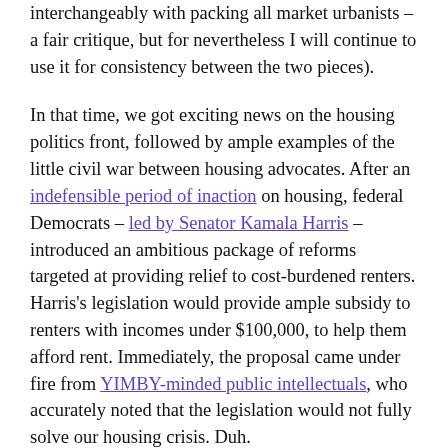interchangeably with packing all market urbanists – a fair critique, but for nevertheless I will continue to use it for consistency between the two pieces).
In that time, we got exciting news on the housing politics front, followed by ample examples of the little civil war between housing advocates. After an indefensible period of inaction on housing, federal Democrats – led by Senator Kamala Harris – introduced an ambitious package of reforms targeted at providing relief to cost-burdened renters. Harris's legislation would provide ample subsidy to renters with incomes under $100,000, to help them afford rent. Immediately, the proposal came under fire from YIMBY-minded public intellectuals, who accurately noted that the legislation would not fully solve our housing crisis. Duh.
This dismissal of Harris-and-company's new